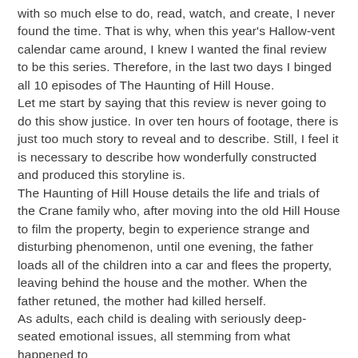with so much else to do, read, watch, and create, I never found the time. That is why, when this year's Hallow-vent calendar came around, I knew I wanted the final review to be this series. Therefore, in the last two days I binged all 10 episodes of The Haunting of Hill House.
Let me start by saying that this review is never going to do this show justice. In over ten hours of footage, there is just too much story to reveal and to describe. Still, I feel it is necessary to describe how wonderfully constructed and produced this storyline is.
The Haunting of Hill House details the life and trials of the Crane family who, after moving into the old Hill House to film the property, begin to experience strange and disturbing phenomenon, until one evening, the father loads all of the children into a car and flees the property, leaving behind the house and the mother. When the father retuned, the mother had killed herself.
As adults, each child is dealing with seriously deep-seated emotional issues, all stemming from what happened to